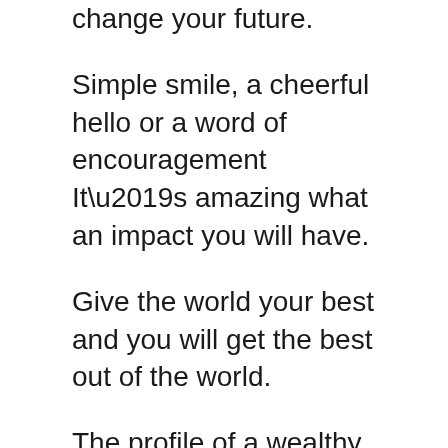change your future.
Simple smile, a cheerful hello or a word of encouragement It’s amazing what an impact you will have.
Give the world your best and you will get the best out of the world.
The profile of a wealthy person is this hard work, perseverance, and most of all, self-discipline.
Look at the bright side no matter how old you are, you are younger than you’ll ever be again.
Responsibility and commitment are key